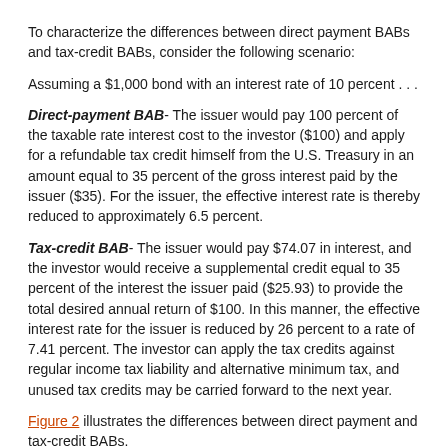To characterize the differences between direct payment BABs and tax-credit BABs, consider the following scenario:
Assuming a $1,000 bond with an interest rate of 10 percent . . .
Direct-payment BAB - The issuer would pay 100 percent of the taxable rate interest cost to the investor ($100) and apply for a refundable tax credit himself from the U.S. Treasury in an amount equal to 35 percent of the gross interest paid by the issuer ($35). For the issuer, the effective interest rate is thereby reduced to approximately 6.5 percent.
Tax-credit BAB - The issuer would pay $74.07 in interest, and the investor would receive a supplemental credit equal to 35 percent of the interest the issuer paid ($25.93) to provide the total desired annual return of $100. In this manner, the effective interest rate for the issuer is reduced by 26 percent to a rate of 7.41 percent. The investor can apply the tax credits against regular income tax liability and alternative minimum tax, and unused tax credits may be carried forward to the next year.
Figure 2 illustrates the differences between direct payment and tax-credit BABs.